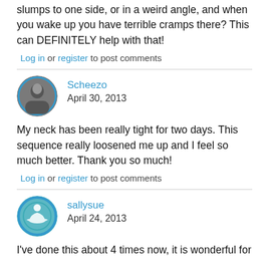slumps to one side, or in a weird angle, and when you wake up you have terrible cramps there? This can DEFINITELY help with that!
Log in or register to post comments
Scheezo
April 30, 2013
My neck has been really tight for two days. This sequence really loosened me up and I feel so much better. Thank you so much!
Log in or register to post comments
sallysue
April 24, 2013
I've done this about 4 times now, it is wonderful for